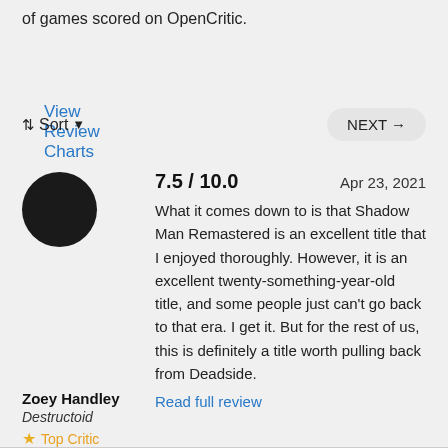of games scored on OpenCritic.
View Review Charts
⇅ Sort ▼
NEXT →
[Figure (illustration): Black filled circle representing a reviewer avatar]
7.5 / 10.0    Apr 23, 2021
What it comes down to is that Shadow Man Remastered is an excellent title that I enjoyed thoroughly. However, it is an excellent twenty-something-year-old title, and some people just can't go back to that era. I get it. But for the rest of us, this is definitely a title worth pulling back from Deadside.
Read full review
Zoey Handley
Destructoid
★ Top Critic